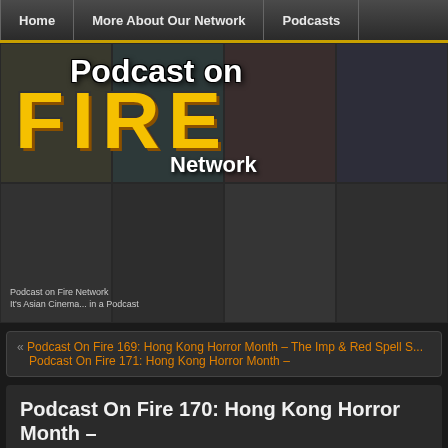Home | More About Our Network | Podcasts
[Figure (illustration): Podcast on Fire Network banner logo with yellow FIRE text and grayscale actor photo grid background. Subtitle reads: Podcast on Fire Network / It's Asian Cinema... in a Podcast]
« Podcast On Fire 169: Hong Kong Horror Month – The Imp & Red Spell S... Podcast On Fire 171: Hong Kong Horror Month –
Podcast On Fire 170: Hong Kong Horror Month – Of A Ghost
October 24th, 2013 | Author: Knetan